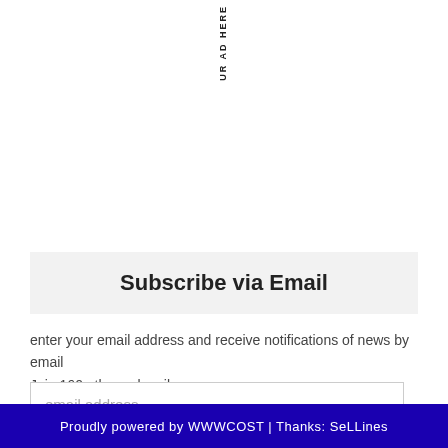UR AD HERE
Subscribe via Email
enter your email address and receive notifications of news by email
Join 160 other subscribers
email address
subscribe
Proudly powered by WWWCOST | Thanks: SeLLines